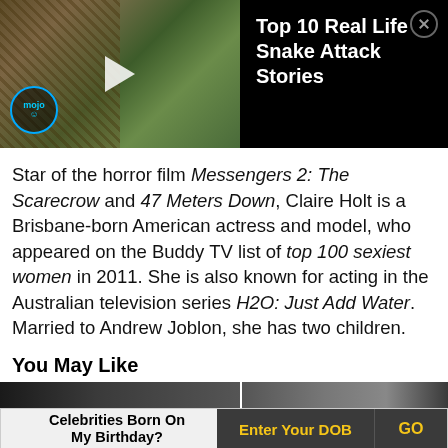[Figure (screenshot): Video thumbnail for 'Top 10 Real Life Snake Attack Stories' with snake and man holding snake, Mojo logo, play button, on black background with close button]
Star of the horror film Messengers 2: The Scarecrow and 47 Meters Down, Claire Holt is a Brisbane-born American actress and model, who appeared on the Buddy TV list of top 100 sexiest women in 2011. She is also known for acting in the Australian television series H2O: Just Add Water. Married to Andrew Joblon, she has two children.
You May Like
[Figure (screenshot): Thumbnail strip showing two dark celebrity images]
Celebrities Born On My Birthday? Enter Your DOB GO